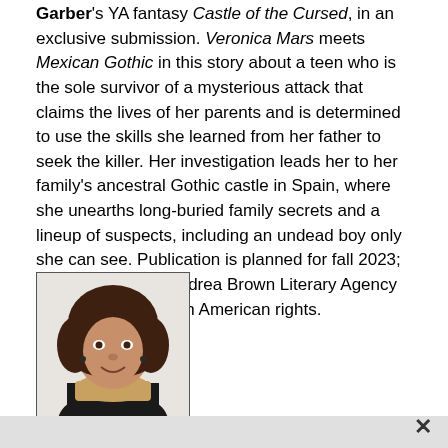Garber's YA fantasy Castle of the Cursed, in an exclusive submission. Veronica Mars meets Mexican Gothic in this story about a teen who is the sole survivor of a mysterious attack that claims the lives of her parents and is determined to use the skills she learned from her father to seek the killer. Her investigation leads her to her family's ancestral Gothic castle in Spain, where she unearths long-buried family secrets and a lineup of suspects, including an undead boy only she can see. Publication is planned for fall 2023; Laura Rennert at Andrea Brown Literary Agency did the deal for North American rights.
[Figure (photo): Portrait photo of a woman with curly natural hair, wearing a black turtleneck and a colorful scarf, smiling at the camera against a light background.]
Liz Szabla at Feiwel and Friends has bought, in a preempt,